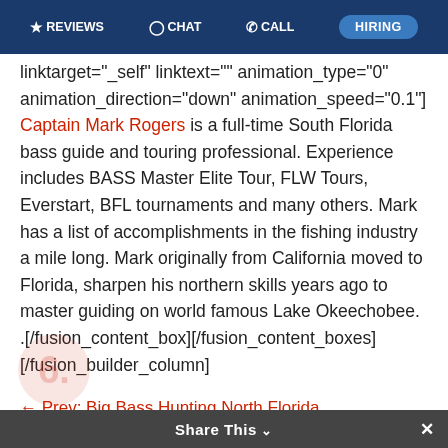REVIEWS  CHAT  CALL  HIRING
linktarget="_self" linktext="" animation_type="0" animation_direction="down" animation_speed="0.1"] Captain Mark Rogers is a full-time South Florida bass guide and touring professional. Experience includes BASS Master Elite Tour, FLW Tours, Everstart, BFL tournaments and many others. Mark has a list of accomplishments in the fishing industry a mile long. Mark originally from California moved to Florida, sharpen his northern skills years ago to master guiding on world famous Lake Okeechobee. .[/fusion_content_box][/fusion_content_boxes] [/fusion_builder_column]
← Prev: Big Bass Hunting North Florida
Next: Florida Multi-Day Okeechobee Bass Fishing Report →
Share This